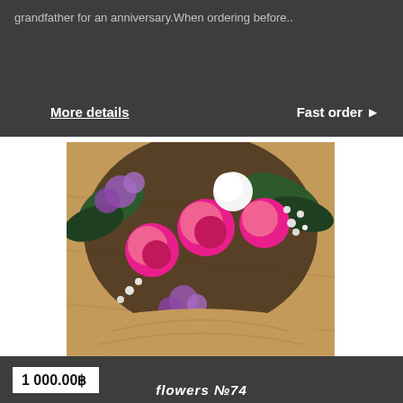grandfather for an anniversary.When ordering before..
More details
Fast order ▶
[Figure (photo): A floral bouquet with pink roses, purple statice, baby's breath, and green foliage wrapped in burlap]
1 000.00฿
★★★★★ (empty stars rating)
flowers №74